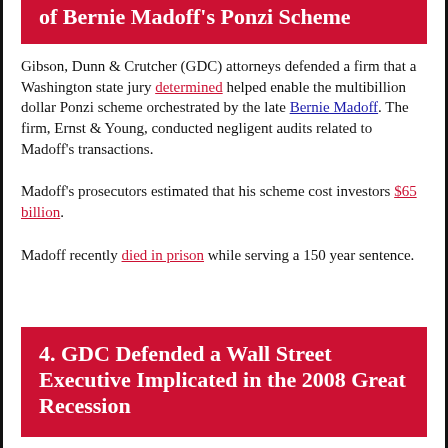of Bernie Madoff's Ponzi Scheme
Gibson, Dunn & Crutcher (GDC) attorneys defended a firm that a Washington state jury determined helped enable the multibillion dollar Ponzi scheme orchestrated by the late Bernie Madoff. The firm, Ernst & Young, conducted negligent audits related to Madoff's transactions.
Madoff's prosecutors estimated that his scheme cost investors $65 billion.
Madoff recently died in prison while serving a 150 year sentence.
4. GDC Defended a Wall Street Executive Implicated in the 2008 Great Recession
Gibson, Dunn & Crutcher (GDC) attorneys were involved in defending a Wall Street executive who